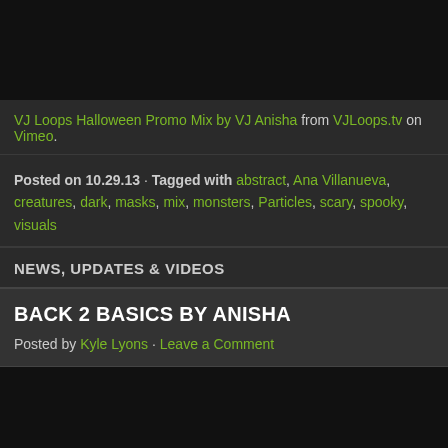[Figure (screenshot): Dark video player area at the top of the page, black background]
VJ Loops Halloween Promo Mix by VJ Anisha from VJLoops.tv on Vimeo.
Posted on 10.29.13 · Tagged with abstract, Ana Villanueva, creatures, dark, masks, mix, monsters, Particles, scary, spooky, visuals
NEWS, UPDATES & VIDEOS
BACK 2 BASICS BY ANISHA
Posted by Kyle Lyons · Leave a Comment
[Figure (screenshot): Dark video embed area with 'Sorry' text visible in white on black background]